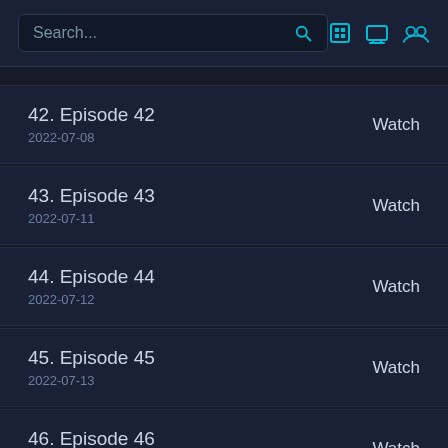Search...
42. Episode 42
2022-07-08
Watch
43. Episode 43
2022-07-11
Watch
44. Episode 44
2022-07-12
Watch
45. Episode 45
2022-07-13
Watch
46. Episode 46
2022-07-14
Watch